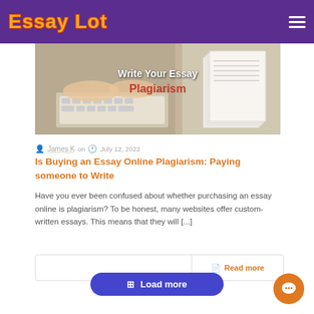Essay Lot
[Figure (screenshot): Hero image with text 'Write Your Essay Plagiarism' overlaid on a photo of person typing on laptop with stacked papers on the right]
James K on  July 12, 2022
Is Buying an Essay Online Plagiarism: Paying someone to Write
Have you ever been confused about whether purchasing an essay online is plagiarism? To be honest, many websites offer custom-written essays. This means that they will [...]
Read more